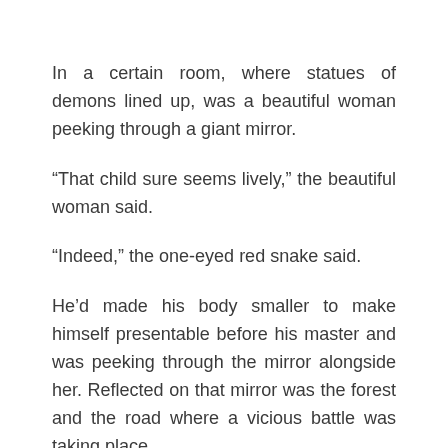In a certain room, where statues of demons lined up, was a beautiful woman peeking through a giant mirror.
“That child sure seems lively,” the beautiful woman said.
“Indeed,” the one-eyed red snake said.
He’d made his body smaller to make himself presentable before his master and was peeking through the mirror alongside her. Reflected on that mirror was the forest and the road where a vicious battle was taking place.
The mirror reflected the battlefield from above, making it easy to see the whole situation. The one road stretching